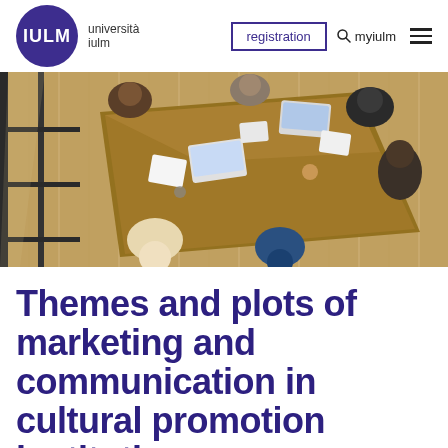IULM università iulm | registration | myiulm
[Figure (photo): Overhead aerial view of people working around a wooden table with laptops, tablets, and papers in a modern office or co-working space]
Themes and plots of marketing and communication in cultural promotion institutions